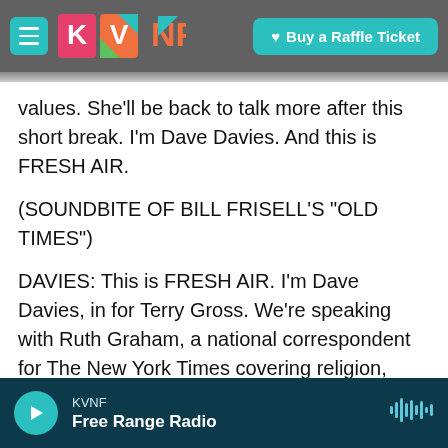[Figure (screenshot): KVNF radio website navigation bar with hamburger menu icon, KVNF colorful logo, and 'Buy a Raffle Ticket' button on dark background]
values. She'll be back to talk more after this short break. I'm Dave Davies. And this is FRESH AIR.
(SOUNDBITE OF BILL FRISELL'S "OLD TIMES")
DAVIES: This is FRESH AIR. I'm Dave Davies, in for Terry Gross. We're speaking with Ruth Graham, a national correspondent for The New York Times covering religion, faith and values. She's written recently that many of the political issues dividing the Republican Party are causing deep rifts among white evangelical churches across the country. Many pastors are feeling pressure from
[Figure (screenshot): KVNF Free Range Radio audio player bar with play button, station name, and waveform icon on dark teal background]